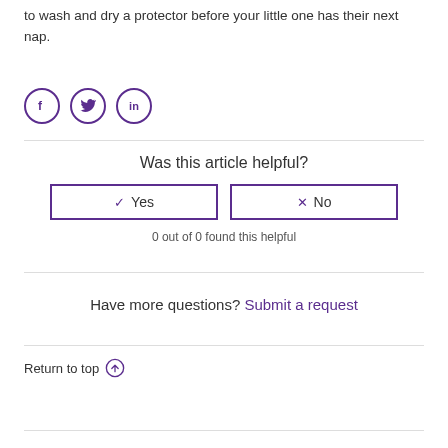to wash and dry a protector before your little one has their next nap.
[Figure (illustration): Three social media share icons in purple circles: Facebook (f), Twitter (bird), LinkedIn (in)]
Was this article helpful?
✓ Yes  ✗ No
0 out of 0 found this helpful
Have more questions? Submit a request
Return to top ↑